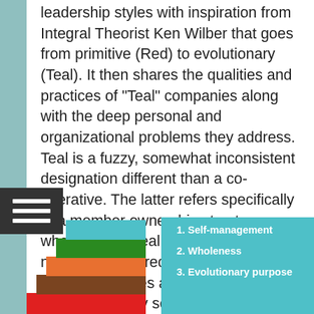leadership styles with inspiration from Integral Theorist Ken Wilber that goes from primitive (Red) to evolutionary (Teal). It then shares the qualities and practices of "Teal" companies along with the deep personal and organizational problems they address. Teal is a fuzzy, somewhat inconsistent designation different than a co-operative. The latter refers specifically to a member ownership structure whereas with Teal, ownership isn't necessarily shared by workers and some companies are more mission-driven than truly self-managed.
[Figure (infographic): Staircase bar chart showing colored steps (red, brown, orange, green, teal/blue) representing levels from primitive to evolutionary, alongside a teal legend box listing: 1. Self-management, 2. Wholeness, 3. Evolutionary purpose]